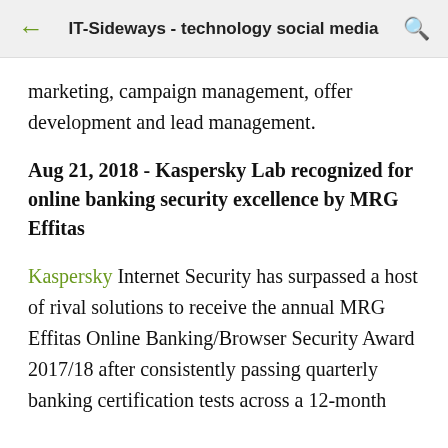IT-Sideways - technology social media
marketing, campaign management, offer development and lead management.
Aug 21, 2018 - Kaspersky Lab recognized for online banking security excellence by MRG Effitas
Kaspersky Internet Security has surpassed a host of rival solutions to receive the annual MRG Effitas Online Banking/Browser Security Award 2017/18 after consistently passing quarterly banking certification tests across a 12-month